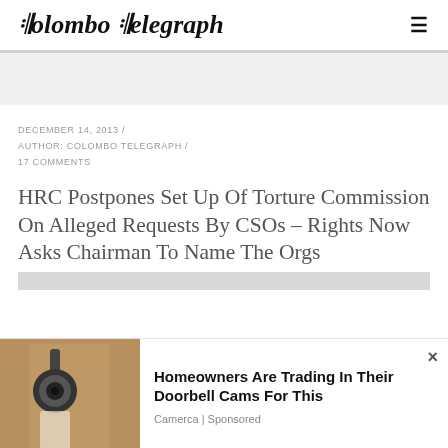Colombo Telegraph
DECEMBER 14, 2013 / AUTHOR: COLOMBO TELEGRAPH / 17 COMMENTS
HRC Postpones Set Up Of Torture Commission On Alleged Requests By CSOs – Rights Now Asks Chairman To Name The Orgs
[Figure (photo): Advertisement overlay showing a doorbell camera mounted on a wall with text: Homeowners Are Trading In Their Doorbell Cams For This. Source: Camerca | Sponsored]